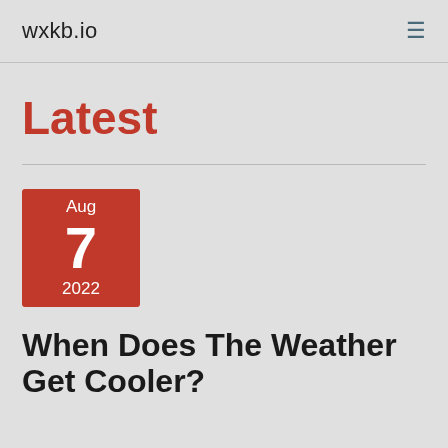wxkb.io
Latest
[Figure (other): Date badge showing Aug 7 2022 in red square]
When Does The Weather Get Cooler?